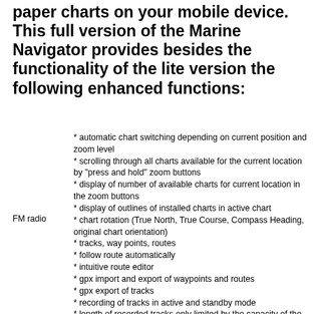paper charts on your mobile device. This full version of the Marine Navigator provides besides the functionality of the lite version the following enhanced functions:
* automatic chart switching depending on current position and zoom level
* scrolling through all charts available for the current location by "press and hold" zoom buttons
* display of number of available charts for current location in the zoom buttons
* display of outlines of installed charts in active chart
* chart rotation (True North, True Course, Compass Heading, original chart orientation)
* tracks, way points, routes
* follow route automatically
* intuitive route editor
* gpx import and export of waypoints and routes
* gpx export of tracks
* recording of tracks in active and standby mode
* length of recorded tracks only limited by the capacity of the external storage (SDCARD)
* compass (magnetic north, true north)
* different dashboard layouts (basic data, detailed route data, detailed GPS data including graphical status info)
FM radio